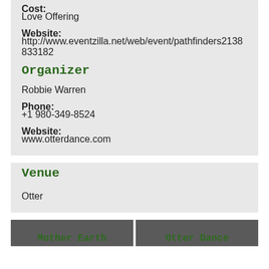Cost:
Love Offering
Website:
http://www.eventzilla.net/web/event/pathfinders2138833182
Organizer
Robbie Warren
Phone:
+1 980-349-8524
Website:
www.otterdance.com
Venue
Otter
Mother Earth
Otter Dance